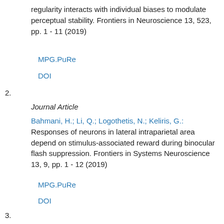regularity interacts with individual biases to modulate perceptual stability. Frontiers in Neuroscience 13, 523, pp. 1 - 11 (2019)
MPG.PuRe
DOI
2.
Journal Article
Bahmani, H.; Li, Q.; Logothetis, N.; Keliris, G.: Responses of neurons in lateral intraparietal area depend on stimulus-associated reward during binocular flash suppression. Frontiers in Systems Neuroscience 13, 9, pp. 1 - 12 (2019)
MPG.PuRe
DOI
3.
Journal Article
Keliris, G.; Li, Q.; Papanicolaou, A.; Lo...